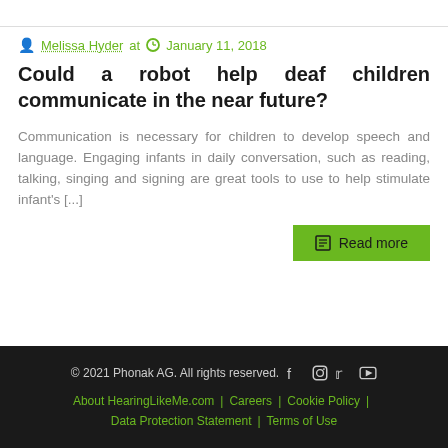Melissa Hyder at  January 11, 2018
Could a robot help deaf children communicate in the near future?
Communication is necessary for children to develop speech and language. Engaging infants in daily conversation, such as reading, talking, singing and signing are great tools to use to help stimulate infant's [...]
Read more
© 2021 Phonak AG. All rights reserved.  About HearingLikeMe.com | Careers | Cookie Policy | Data Protection Statement | Terms of Use